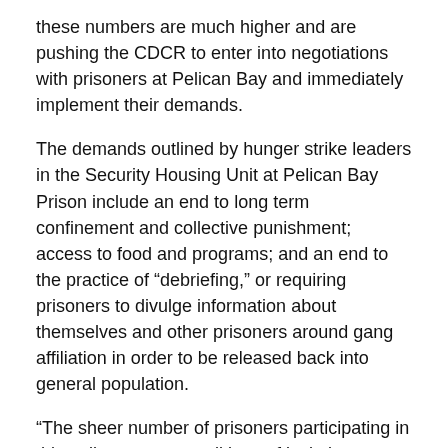these numbers are much higher and are pushing the CDCR to enter into negotiations with prisoners at Pelican Bay and immediately implement their demands.
The demands outlined by hunger strike leaders in the Security Housing Unit at Pelican Bay Prison include an end to long term confinement and collective punishment; access to food and programs; and an end to the practice of “debriefing,” or requiring prisoners to divulge information about themselves and other prisoners around gang affiliation in order to be released back into general population.
“The sheer number of prisoners participating in this strike, across conditions of isolation as well as racial and geographic lines, speaks to the urgency of these prisoners’ demands,” says Molly Porzig of the Prisoner Hunger Strike Solidarity coalition. “It is overwhelmingly clear that the CDCR